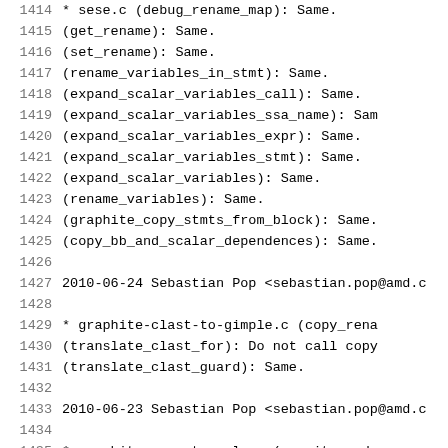1414    * sese.c (debug_rename_map): Same.
1415        (get_rename): Same.
1416        (set_rename): Same.
1417        (rename_variables_in_stmt): Same.
1418        (expand_scalar_variables_call): Same.
1419        (expand_scalar_variables_ssa_name): Sam
1420        (expand_scalar_variables_expr): Same.
1421        (expand_scalar_variables_stmt): Same.
1422        (expand_scalar_variables): Same.
1423        (rename_variables): Same.
1424        (graphite_copy_stmts_from_block): Same.
1425        (copy_bb_and_scalar_dependences): Same.
1426
1427    2010-06-24  Sebastian Pop  <sebastian.pop@amd.c
1428
1429        * graphite-clast-to-gimple.c (copy_rena
1430        (translate_clast_for): Do not call copy
1431        (translate_clast_guard): Same.
1432
1433    2010-06-23  Sebastian Pop  <sebastian.pop@amd.c
1434
1435        * graphite-sese-to-poly.c (rewrite_redu